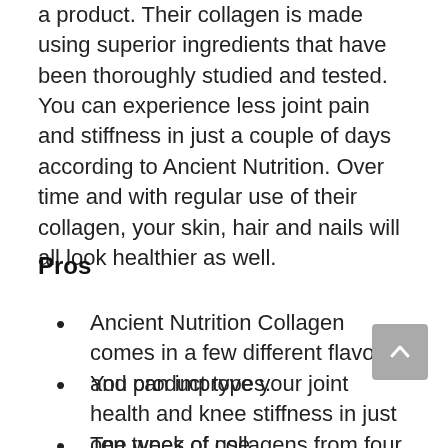a product. Their collagen is made using superior ingredients that have been thoroughly studied and tested. You can experience less joint pain and stiffness in just a couple of days according to Ancient Nutrition. Over time and with regular use of their collagen, your skin, hair and nails will all look healthier as well.
Pros
Ancient Nutrition Collagen comes in a few different flavors and product types.
You can improve your joint health and knee stiffness in just one week of use.
Ten types of collagens from four different sources are included in this product.